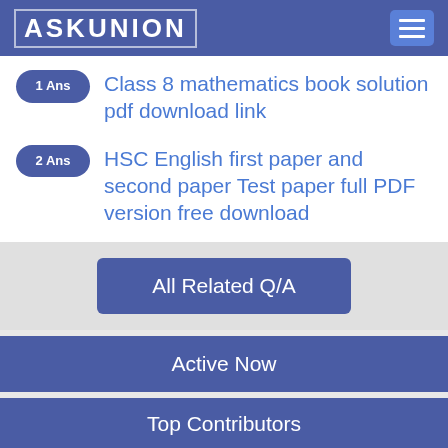AskUnion
1 Ans — Class 8 mathematics book solution pdf download link
2 Ans — HSC English first paper and second paper Test paper full PDF version free download
All Related Q/A
Active Now
Top Contributors
AL MaMun (active on Monday, 06 Sep 2021, 11:15 AM) (4 Golds)